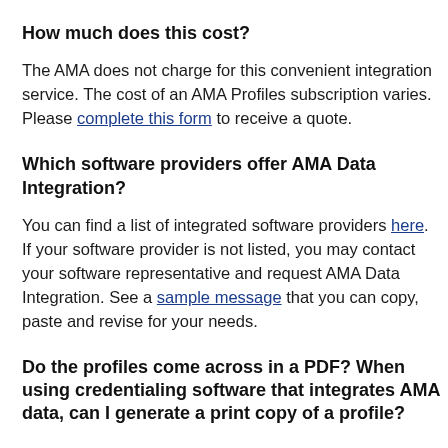How much does this cost?
The AMA does not charge for this convenient integration service. The cost of an AMA Profiles subscription varies. Please complete this form to receive a quote.
Which software providers offer AMA Data Integration?
You can find a list of integrated software providers here. If your software provider is not listed, you may contact your software representative and request AMA Data Integration. See a sample message that you can copy, paste and revise for your needs.
Do the profiles come across in a PDF? When using credentialing software that integrates AMA data, can I generate a print copy of a profile?